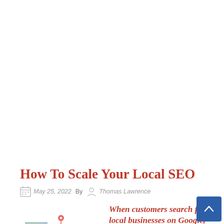How To Scale Your Local SEO
May 25, 2022   By   Thomas Lawrence
[Figure (illustration): Illustration of a local business storefront with a map pin and street scene]
When customers search for local businesses on Google, those businesses with the be...